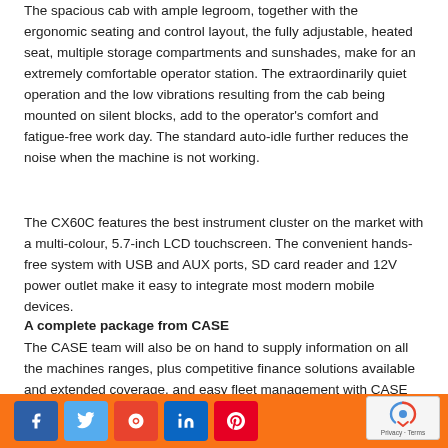The spacious cab with ample legroom, together with the ergonomic seating and control layout, the fully adjustable, heated seat, multiple storage compartments and sunshades, make for an extremely comfortable operator station. The extraordinarily quiet operation and the low vibrations resulting from the cab being mounted on silent blocks, add to the operator's comfort and fatigue-free work day. The standard auto-idle further reduces the noise when the machine is not working.
The CX60C features the best instrument cluster on the market with a multi-colour, 5.7-inch LCD touchscreen. The convenient hands-free system with USB and AUX ports, SD card reader and 12V power outlet make it easy to integrate most modern mobile devices.
A complete package from CASE
The CASE team will also be on hand to supply information on all the machines ranges, plus competitive finance solutions available and extended coverage, and easy fleet management with CASE SiteWatch™ system.
Social share buttons: Facebook, Twitter, StumbleUpon, LinkedIn, Pinterest